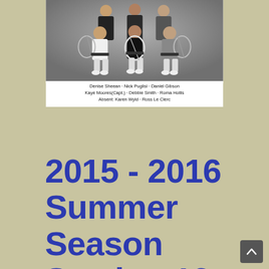[Figure (photo): Group photo of tennis team members seated and standing, holding racquets, in front of a grey studio backdrop.]
Denise Sheean · Nick Puglisi · Daniel Gibson
Kaye Moores(Capt.) · Debbie Smith · Roma Hollis
Absent: Karen Wyld · Ross Le Clerc
2015 - 2016 Summer Season Section 12 Mixed Juniors